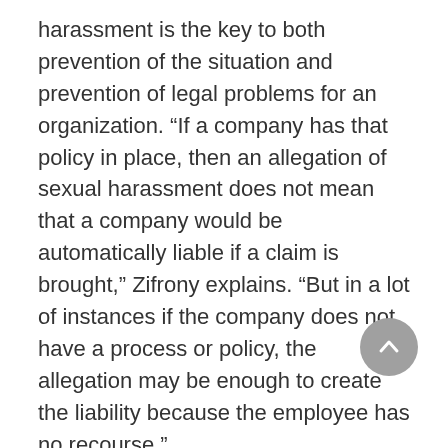harassment is the key to both prevention of the situation and prevention of legal problems for an organization. “If a company has that policy in place, then an allegation of sexual harassment does not mean that a company would be automatically liable if a claim is brought,” Zifrony explains. “But in a lot of instances if the company does not have a process or policy, the allegation may be enough to create the liability because the employee has no recourse.”
“In today’s world, it would be a wise thing to create a policy in advance,” advises Rembaum. “If a problem arises and there is no pol-icy, deal with it head-on and quickly. Then create a policy.”
“For companies with a large number of employees, I recommend an employee handbook prepared by an